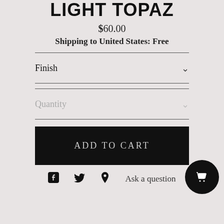LIGHT TOPAZ
$60.00
Shipping to United States: Free
Finish
Quantity
ADD TO CART
Ask a question